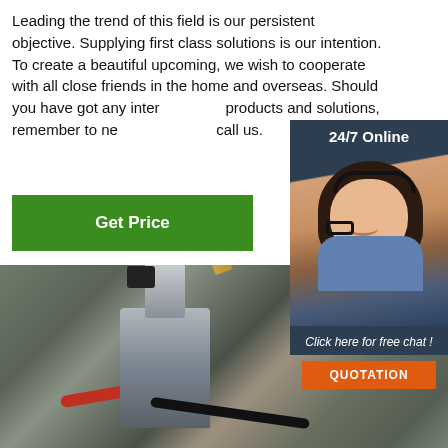Leading the trend of this field is our persistent objective. Supplying first class solutions is our intention. To create a beautiful upcoming, we wish to cooperate with all close friends in the home and overseas. Should you have got any interest in our products and solutions, remember to never hesitate to call us.
[Figure (other): Green 'Get Price' button]
[Figure (photo): Industrial welding/cutting machinery equipment close-up photo showing a motorized unit with hoses and cables]
[Figure (infographic): 24/7 Online chat widget with customer service representative wearing headset, 'Click here for free chat!' text, and orange QUOTATION button]